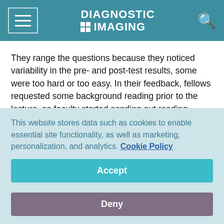DIAGNOSTIC IMAGING
They range the questions because they noticed variability in the pre- and post-test results, some were too hard or too easy. In their feedback, fellows requested some background reading prior to the lecture, so faculty started sending out reading material for students to read beforehand.
Also, Sze believes that knowledge not applied is knowledge lost, so his faculty try to create projects for fellows, driven by
This website stores data such as cookies to enable essential site functionality, as well as marketing, personalization, and analytics. Cookie Policy
Accept
Deny